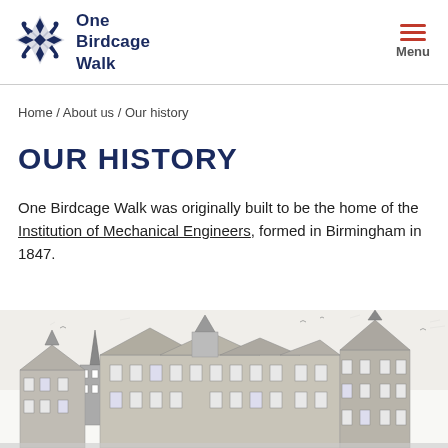One Birdcage Walk — Menu
Home / About us / Our history
OUR HISTORY
One Birdcage Walk was originally built to be the home of the Institution of Mechanical Engineers, formed in Birmingham in 1847.
[Figure (illustration): Architectural sketch/engraving of the rooftops and turrets of One Birdcage Walk building]